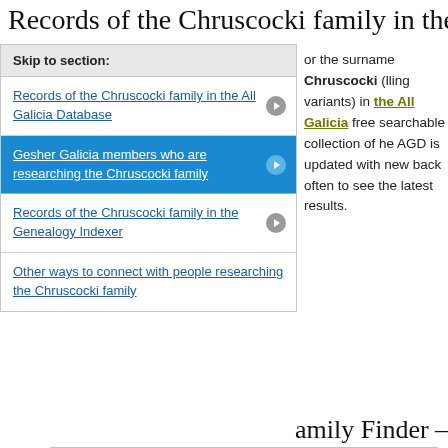Records of the Chruscocki family in the All
Skip to section:
Records of the Chruscocki family in the All Galicia Database
or the surname Chruscocki (lling variants) in the All Galicia free searchable collection of he AGD is updated with new back often to see the latest results.
Gesher Galicia members who are researching the Chruscocki family
Records of the Chruscocki family in the Genealogy Indexer
Other ways to connect with people researching the Chruscocki family
amily Finder — ople who are cocki family:
There are 8 entries listed in the Gesher Galicia Family Finder for this surname.
Here are the 3 most recent records.